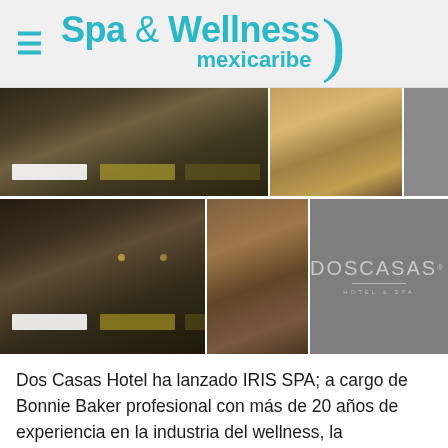Spa & Wellness mexicaribe
[Figure (photo): Two rows of hotel spa room photos showing massage tables with olive/gold linens, wooden furniture, a corridor with pendant lights, and the Dos Casas Hotel & Spa logo on a grey panel]
Dos Casas Hotel ha lanzado IRIS SPA; a cargo de Bonnie Baker profesional con más de 20 años de experiencia en la industria del wellness, la hospitalidad, y un enfoque en